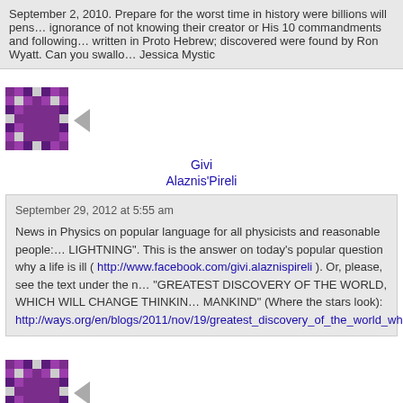September 2, 2010. Prepare for the worst time in history were billions will pens... ignorance of not knowing their creator or His 10 commandments and following... written in Proto Hebrew; discovered were found by Ron Wyatt. Can you swallo... Jessica Mystic
[Figure (illustration): Purple/violet pixel-art avatar icon for Givi Alaznis'Pireli]
Givi Alaznis'Pireli
September 29, 2012 at 5:55 am
News in Physics on popular language for all physicists and reasonable people:... LIGHTNING". This is the answer on today's popular question why a life is ill ( http://www.facebook.com/givi.alaznispireli ). Or, please, see the text under the n... "GREATEST DISCOVERY OF THE WORLD, WHICH WILL CHANGE THINKIN... MANKIND" (Where the stars look): http://ways.org/en/blogs/2011/nov/19/greatest_discovery_of_the_world_which_...
[Figure (illustration): Purple/violet pixel-art avatar icon for Givi Alaznis'Pireli (second instance)]
Givi Alaznis'Pireli
October 8, 2012 at 1:01 pm
News in Physics on popular language for all physicists and reasonable people:... of LIGHTNING and FIREBALL". It was founded on the basis of ancient Indian s... recommend you to publish this great opening at your Country too (republishing...